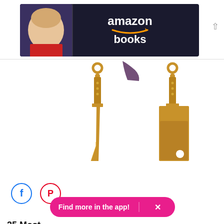[Figure (screenshot): Amazon Books advertisement banner with a bald man's face on the left and Amazon Books logo text on the right against a dark background]
[Figure (photo): Two gold-colored metal knife charms/pendants: a chef's knife on the left and a cleaver on the right, on a white background. A partial dark object is visible at the top center.]
[Figure (screenshot): Social sharing buttons: Facebook (blue circle with f logo) and Pinterest (red circle with P logo)]
[Figure (screenshot): Pink/magenta rounded button reading 'Find more in the app!' with an X close button on the right]
25 Most